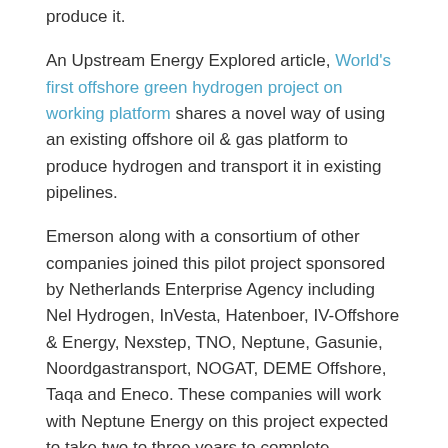produce it.
An Upstream Energy Explored article, World's first offshore green hydrogen project on working platform shares a novel way of using an existing offshore oil & gas platform to produce hydrogen and transport it in existing pipelines.
Emerson along with a consortium of other companies joined this pilot project sponsored by Netherlands Enterprise Agency including Nel Hydrogen, InVesta, Hatenboer, IV-Offshore & Energy, Nexstep, TNO, Neptune, Gasunie, Noordgastransport, NOGAT, DEME Offshore, Taqa and Eneco. These companies will work with Neptune Energy on this project expected to take two to three years to complete.
This pilot project chose an offshore platform, which:
… is already fully electrified using green electricity.